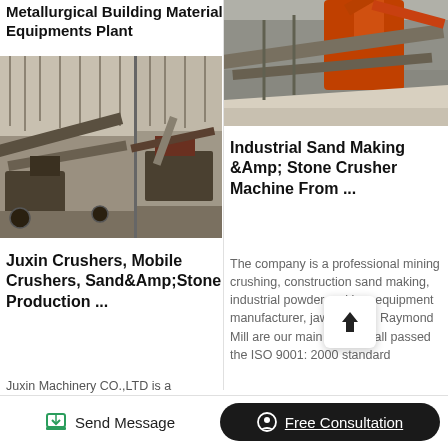Metallurgical Building Material Equipments Plant
[Figure (photo): Industrial crushing/sand-making machinery outdoor, two-panel photo]
Juxin Crushers, Mobile Crushers, Sand&Amp;Stone Production ...
Juxin Machinery CO.,LTD is a manufacturer specialized in
[Figure (photo): Industrial sand making and stone crushing equipment outdoor, orange machinery]
Industrial Sand Making &Amp; Stone Crusher Machine From ...
The company is a professional mining crushing, construction sand making, industrial powder making, equipment manufacturer, jaw crusher, Raymond Mill are our main product, all passed the ISO 9001: 2000 standard
Send Message
Free Consultation